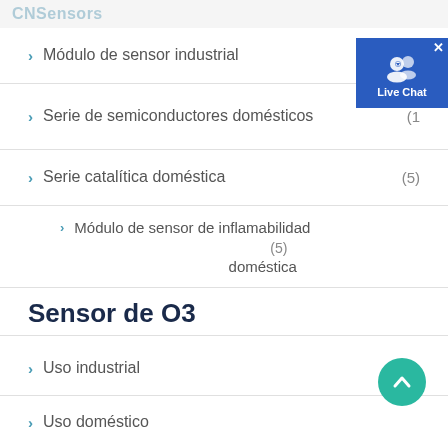CNSensors
> Módulo de sensor industrial (5)
> Serie de semiconductores domésticos (1...)
> Serie catalítica doméstica (5)
> Módulo de sensor de inflamabilidad doméstica (5)
Sensor de O3
> Uso industrial (4)
> Uso doméstico
Sensor PM2.5